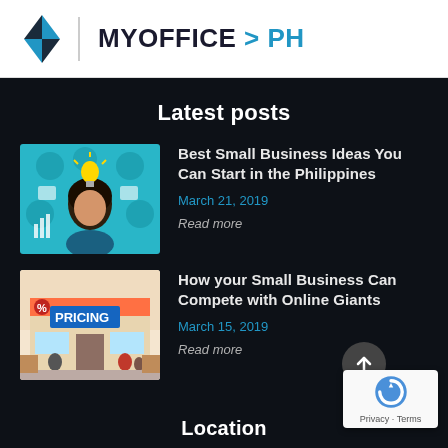MYOFFICE > PH
Latest posts
[Figure (illustration): Illustration of a woman with a lightbulb and business icons around her head on teal background]
Best Small Business Ideas You Can Start in the Philippines
March 21, 2019
Read more
[Figure (illustration): Illustration of a pricing store front with people and sale signs on orange/cream background]
How your Small Business Can Compete with Online Giants
March 15, 2019
Read more
Location